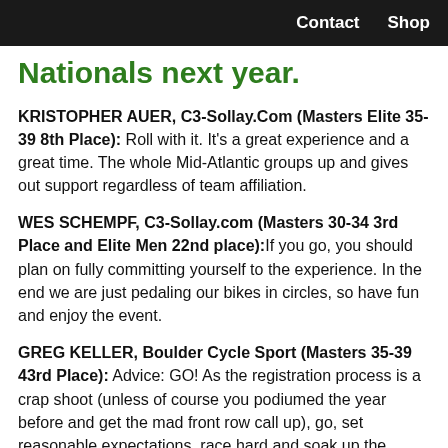Contact  Shop
Nationals next year.
KRISTOPHER AUER, C3-Sollay.Com (Masters Elite 35-39 8th Place): Roll with it. It's a great experience and a great time. The whole Mid-Atlantic groups up and gives out support regardless of team affiliation.
WES SCHEMPF, C3-Sollay.com (Masters 30-34 3rd Place and Elite Men 22nd place): If you go, you should plan on fully committing yourself to the experience. In the end we are just pedaling our bikes in circles, so have fun and enjoy the event.
GREG KELLER, Boulder Cycle Sport (Masters 35-39 43rd Place): Advice: GO! As the registration process is a crap shoot (unless of course you podiumed the year before and get the mad front row call up), go, set reasonable expectations, race hard and soak up the scene. These are